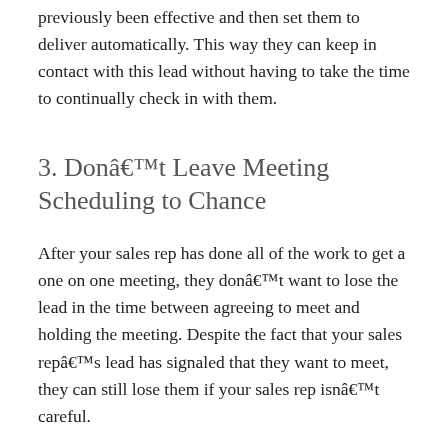previously been effective and then set them to deliver automatically. This way they can keep in contact with this lead without having to take the time to continually check in with them.
3. Don’t Leave Meeting Scheduling to Chance
After your sales rep has done all of the work to get a one on one meeting, they don’t want to lose the lead in the time between agreeing to meet and holding the meeting. Despite the fact that your sales rep’s lead has signaled that they want to meet, they can still lose them if your sales rep isn’t careful.
The ensuing back and forth that comes from agreeing to a time to meet loses a surprising number of leads. An automated meeting scheduler allows your lead to pick a